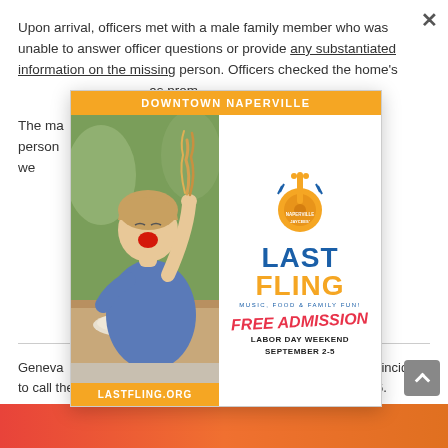Upon arrival, officers met with a male family member who was unable to answer officer questions or provide any substantiated information on the missing person. Officers checked the home's...
The male... do as a person of interest... times. That was... investigators... she is a general...
[Figure (infographic): Advertisement overlay for Naperville Jaycees' Last Fling event. Orange header reads 'DOWNTOWN NAPERVILLE'. Left side shows a photo of a child eating pasta. Right side has the Last Fling logo with guitar icon, 'FREE ADMISSION' in red italic, 'LABOR DAY WEEKEND SEPTEMBER 2-5'. Footer reads 'LASTFLING.ORG'.]
Geneva... about the incident to call the department's Investigations Division at 630-232-4736.